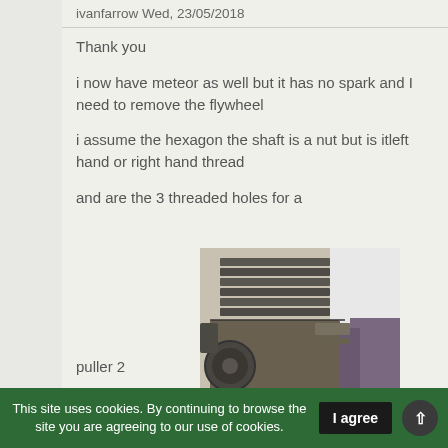ivanfarrow Wed, 23/05/2018
Thank you
i now have meteor as well but it has no spark and I need to remove the flywheel
i assume the hexagon the shaft is a nut but is itleft hand or right hand thread
and are the 3 threaded holes for a
[Figure (photo): Photograph of an engine, showing cylinder head with cooling fins, engine block, and flywheel area.]
puller 2
This site uses cookies. By continuing to browse the site you are agreeing to our use of cookies.